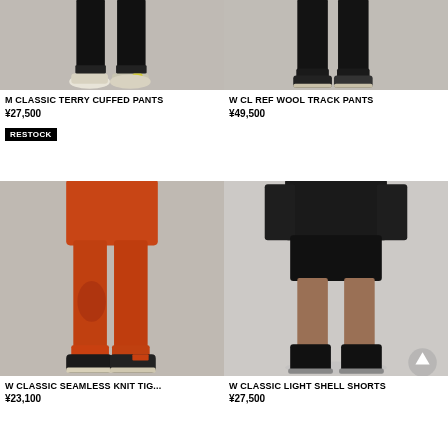[Figure (photo): Person wearing black cuffed pants and colorful sneakers, lower body shot]
M CLASSIC TERRY CUFFED PANTS
¥27,500
RESTOCK
[Figure (photo): Person wearing black wool track pants and dark sneakers, lower body shot]
W CL REF WOOL TRACK PANTS
¥49,500
[Figure (photo): Person wearing orange seamless knit tights and orange top with black sneakers]
W CLASSIC SEAMLESS KNIT TIG...
¥23,100
[Figure (photo): Person wearing black light shell shorts and black sweatshirt with black boots]
W CLASSIC LIGHT SHELL SHORTS
¥27,500